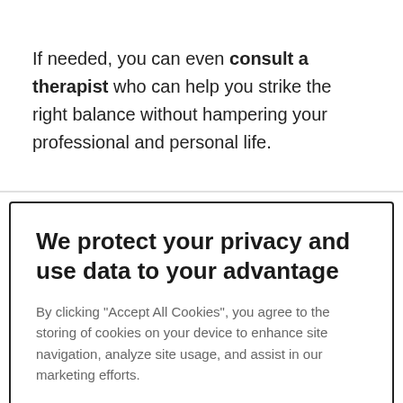If needed, you can even consult a therapist who can help you strike the right balance without hampering your professional and personal life.
We protect your privacy and use data to your advantage
By clicking "Accept All Cookies", you agree to the storing of cookies on your device to enhance site navigation, analyze site usage, and assist in our marketing efforts.
Accept all cookies
Cookies settings